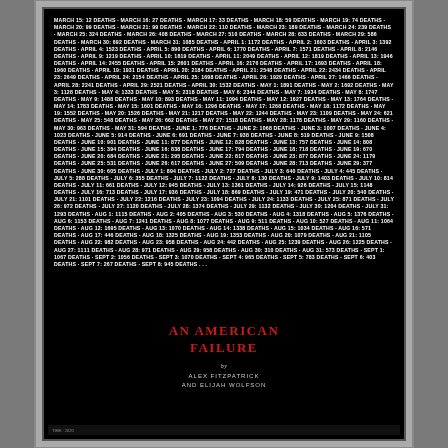[Figure (infographic): A typographic poster where COVID-19 daily death counts from March through September 2020 are printed as dense white text on a black background. The text is arranged so that the numbers and dates form the large numeral '2020' as a negative space / positive space typographic effect. The text reads dates and death counts continuously: MARCH 15: 12 DEATHS · MARCH 16: 27 DEATHS · ... SEPT 6: 403 DEATHS · SEPT 7: 267 DEATHS · SEPT 8: 945 DEATHS...]
AN AMERICAN FAILURE
by
ALEX FITZPATRICK AND ELIJAH WOLFSON
TIME · 2020